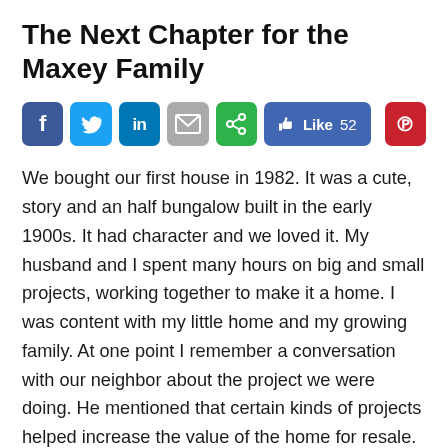The Next Chapter for the Maxey Family
[Figure (other): Social media sharing buttons: Facebook, Twitter, LinkedIn, Email, Share (green), Like 52 (Facebook like button), and Pinterest]
We bought our first house in 1982. It was a cute, story and an half bungalow built in the early 1900s. It had character and we loved it. My husband and I spent many hours on big and small projects, working together to make it a home. I was content with my little home and my growing family. At one point I remember a conversation with our neighbor about the project we were doing. He mentioned that certain kinds of projects helped increase the value of the home for resale. My response to him was something that makes me laugh now. I said I wasn't very concerned about adding value since I didn't see myself moving. In fact, I went even further and said I envisioned